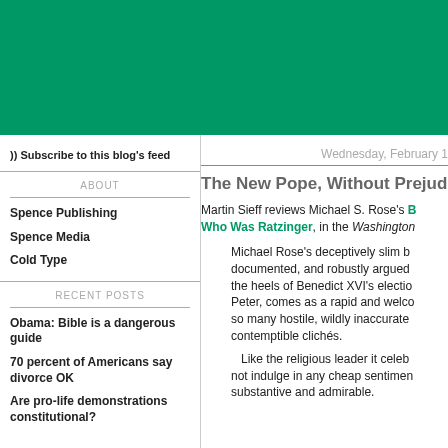[Figure (other): Green header banner background]
Subscribe to this blog's feed
ABOUT
Spence Publishing
Spence Media
Cold Type
RECENT POSTS
Obama: Bible is a dangerous guide
70 percent of Americans say divorce OK
Are pro-life demonstrations constitutional?
Wednesday, February 1
The New Pope, Without Prejud
Martin Sieff reviews Michael S. Rose's B Who Was Ratzinger, in the Washington
Michael Rose's deceptively slim b documented, and robustly argued the heels of Benedict XVI's electio Peter, comes as a rapid and welco so many hostile, wildly inaccurate contemptible clichés.
Like the religious leader it celeb not indulge in any cheap sentimen substantive and admirable.